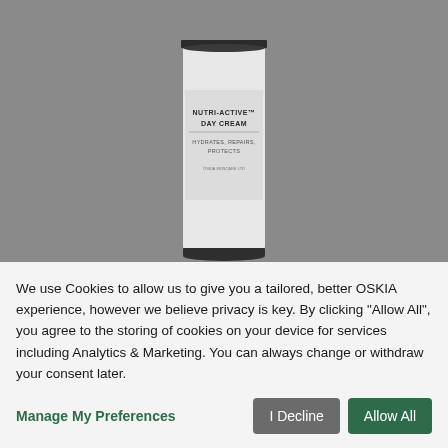[Figure (photo): Product jar of NUTRI-ACTIVE DAY CREAM with white cylindrical container, dark lid, label reading HYDRATES, REPAIRS, PROTECTS]
NUTRI-ACTIVE DAY CREAM
An advanced lightweight moisturiser that hydrates, repairs & protects.
£70.00  40ml
We use Cookies to allow us to give you a tailored, better OSKIA experience, however we believe privacy is key. By clicking "Allow All", you agree to the storing of cookies on your device for services including Analytics & Marketing. You can always change or withdraw your consent later.
Manage My Preferences
I Decline
Allow All